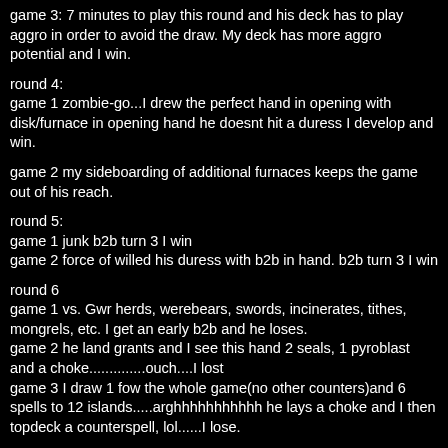game 3: 7 minutes to play this round and his deck has to play aggro in order to avoid the draw. My deck has more aggro potential and I win.
round 4:
game 1 zombie-go...I drew the perfect hand in opening with disk/furnace in opening hand he doesnt hit a duress I develop and win.
game 2 my sideboarding of additional furnaces keeps the game out of his reach.
round 5:
game 1 junk b2b turn 3 I win
game 2 force of willed his duress with b2b in hand. b2b turn 3 I win
round 6
game 1 vs. Gwr herds, werebears, swords, incinerates, tithes, mongrels, etc. I get an early b2b and he loses.
game 2 he land grants and I see this hand 2 seals, 1 pyroblast and a choke..............ouch....I lost
game 3 I draw 1 fow the whole game(no other counters)and 6 spells to 12 islands.....arghhhhhhhhh he lays a choke and I then topdeck a counterspell, lol......I lose.
round 7 went much the same as round 5
round 8: With a win I will place 2nd or 3rd in the amateur class and get a bunch of cards...so here goes.
game 1: vs junk.....I have the b2b opening hand he goes first Savannah tithes on my discard to get the black. I lay island and opt on his discard he lays a treetop...I am thinking he has the deed in hand and is next turns